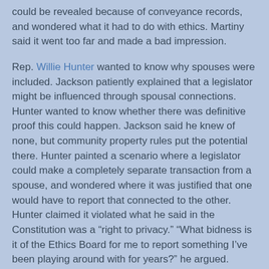could be revealed because of conveyance records, and wondered what it had to do with ethics. Martiny said it went too far and made a bad impression.
Rep. Willie Hunter wanted to know why spouses were included. Jackson patiently explained that a legislator might be influenced through spousal connections. Hunter wanted to know whether there was definitive proof this could happen. Jackson said he knew of none, but community property rules put the potential there. Hunter painted a scenario where a legislator could make a completely separate transaction from a spouse, and wondered where it was justified that one would have to report that connected to the other. Hunter claimed it violated what he said in the Constitution was a “right to privacy.” “What bidness is it of the Ethics Board for me to report something I’ve been playing around with for years?” he argued. Jackson reiterated it was a chance to show the general public of potential conflicts of interest. “It needs work” Hunter said.
Rep. Gary Smith offered an amendment to apply it to all elective offices. “If we’re serious about ethics, we need to be serious about it for everybody.” he argued. Rep. Jackson...